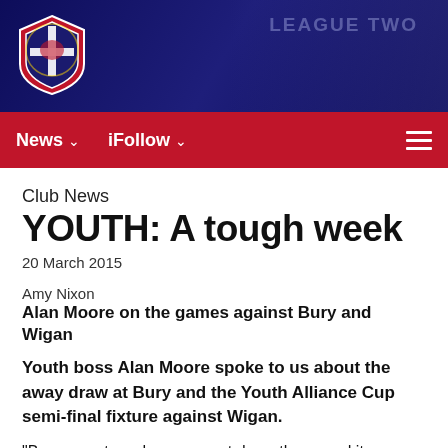[Figure (photo): Dark blue hero banner with Carlisle United FC club crest logo on the left and a faded League Two badge/trophy on the right]
News ∨   iFollow ∨
Club News
YOUTH: A tough week
20 March 2015
Amy Nixon
Alan Moore on the games against Bury and Wigan
Youth boss Alan Moore spoke to us about the away draw at Bury and the Youth Alliance Cup semi-final fixture against Wigan.
"Bury were top when we went down there, and it was their first game at Carrington, so we knew it would be a